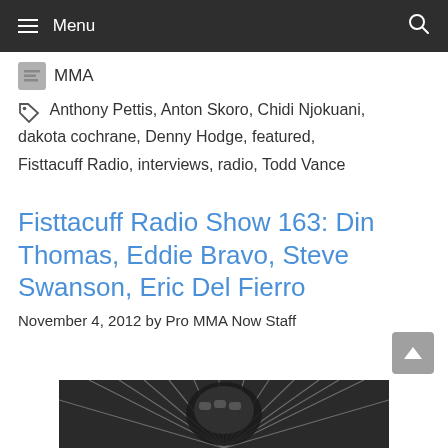Menu
MMA
Anthony Pettis, Anton Skoro, Chidi Njokuani, dakota cochrane, Denny Hodge, featured, Fisttacuff Radio, interviews, radio, Todd Vance
Fisttacuff Radio Show 163: Din Thomas, Eddie Bravo, Steve Swanson, Eric Del Fierro
November 4, 2012 by Pro MMA Now Staff
[Figure (illustration): Partial view of a grayscale illustration with radiating sunburst lines and what appears to be a fist or fighting-related graphic]